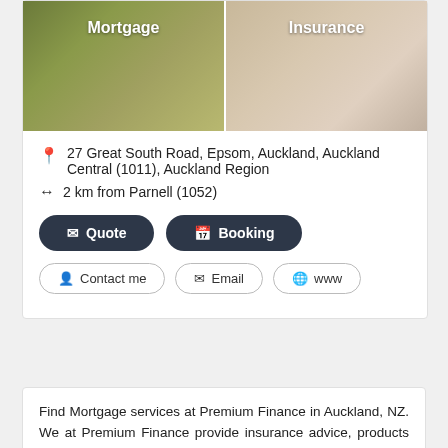[Figure (photo): Two side-by-side image tiles: left shows keys with 'Mortgage' label on olive/green background, right shows a person with 'Insurance' label on beige/tan background]
27 Great South Road, Epsom, Auckland, Auckland Central (1011), Auckland Region
2 km from Parnell (1052)
✉ Quote
📅 Booking
👤 Contact me
✉ Email
🌐 www
Find Mortgage services at Premium Finance in Auckland, NZ. We at Premium Finance provide insurance advice, products and services on life insurance, trauma insurance, medical insurance, income protection, mortgage protection and total disablement . Read more